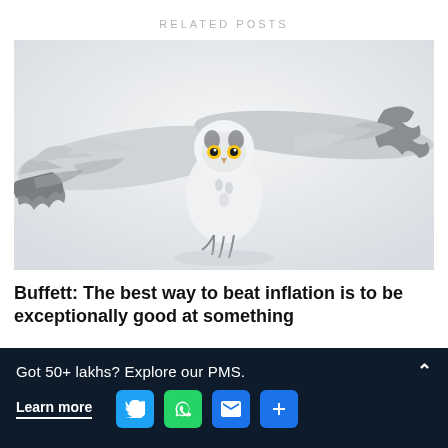RELATED POSTS
[Figure (photo): A snowy owl in flight with wings fully spread, flying low over a white snowy surface, facing the camera directly.]
Buffett: The best way to beat inflation is to be exceptionally good at something
Got 50+ lakhs? Explore our PMS.
Learn more